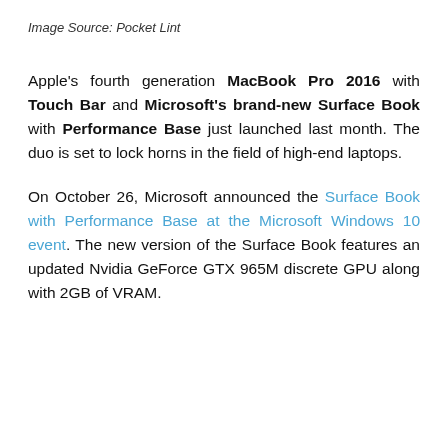Image Source: Pocket Lint
Apple's fourth generation MacBook Pro 2016 with Touch Bar and Microsoft's brand-new Surface Book with Performance Base just launched last month. The duo is set to lock horns in the field of high-end laptops.
On October 26, Microsoft announced the Surface Book with Performance Base at the Microsoft Windows 10 event. The new version of the Surface Book features an updated Nvidia GeForce GTX 965M discrete GPU along with 2GB of VRAM.